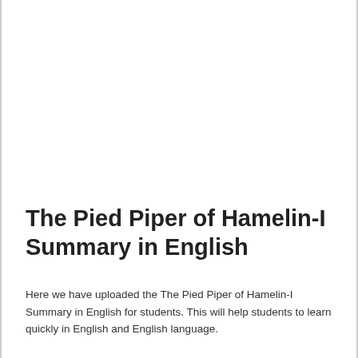The Pied Piper of Hamelin-I Summary in English
Here we have uploaded the The Pied Piper of Hamelin-I Summary in English for students. This will help students to learn quickly in English and English language.